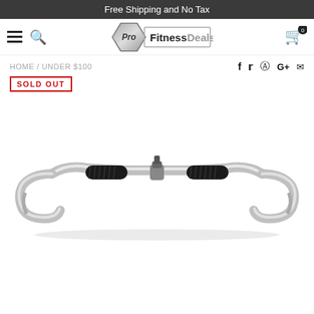Free Shipping and No Tax
[Figure (logo): Pro Fitness Deals logo with hexagon shape]
HOME / UNDER $100
SOLD OUT
[Figure (photo): Chrome cable attachment bar with black foam grips and D-ring handles on each end, shown on white background]